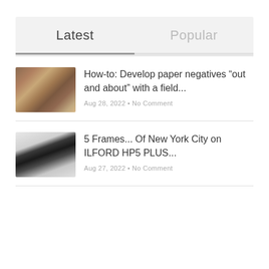Latest
Popular
[Figure (photo): Thumbnail photo of a table with darkroom supplies and paper negatives]
How-to: Develop paper negatives "out and about" with a field...
Aug 28, 2022 • No Comment
[Figure (photo): Thumbnail photo of a camera on a white surface with film strips]
5 Frames... Of New York City on ILFORD HP5 PLUS...
Aug 27, 2022 • No Comment